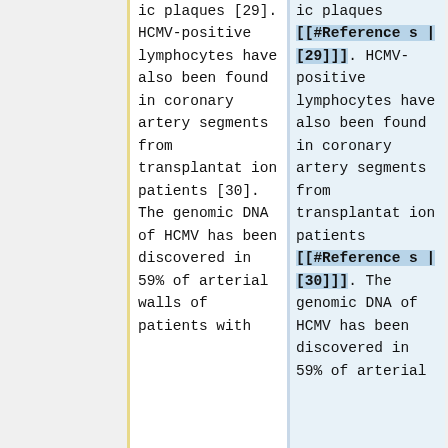ic plaques [29]. HCMV-positive lymphocytes have also been found in coronary artery segments from transplantation patients [30]. The genomic DNA of HCMV has been discovered in 59% of arterial walls of patients with
ic plaques [[#References |[29]]]. HCMV-positive lymphocytes have also been found in coronary artery segments from transplantation patients [[#References |[30]]]. The genomic DNA of HCMV has been discovered in 59% of arterial